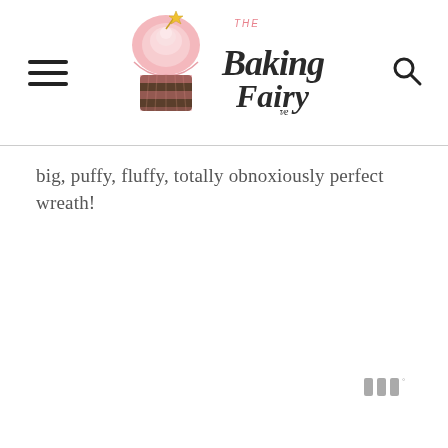The Baking Fairy
big, puffy, fluffy, totally obnoxiously perfect wreath!